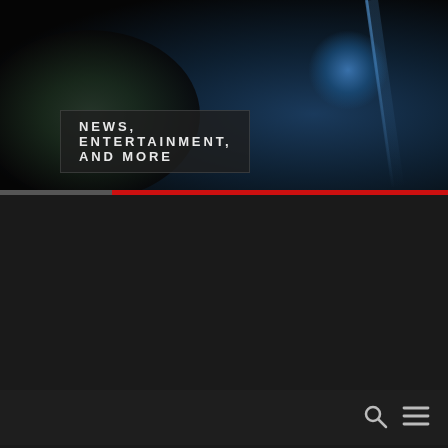[Figure (illustration): Dark space/earth themed header banner with globe visible at bottom-left and blue glow/light beam at upper right, with text overlay NEWS, ENTERTAINMENT, AND MORE]
NEWS, ENTERTAINMENT, AND MORE
[Figure (photo): Navigation bar with dark background showing search icon (magnifying glass) and hamburger menu icon on the right side]
[Figure (photo): Breaking news graphic with red background showing a globe/world map in pink/red tones and the word BREAKING in large white bold letters at the bottom]